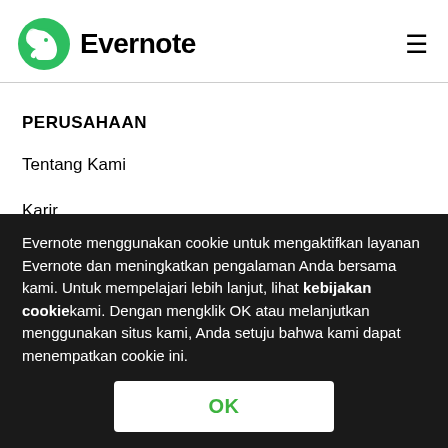[Figure (logo): Evernote logo with green elephant icon and bold 'Evernote' wordmark]
PERUSAHAAN
Tentang Kami
Karir
Evernote menggunakan cookie untuk mengaktifkan layanan Evernote dan meningkatkan pengalaman Anda bersama kami. Untuk mempelajari lebih lanjut, lihat kebijakan cookie kami. Dengan mengklik OK atau melanjutkan menggunakan situs kami, Anda setuju bahwa kami dapat menempatkan cookie ini.